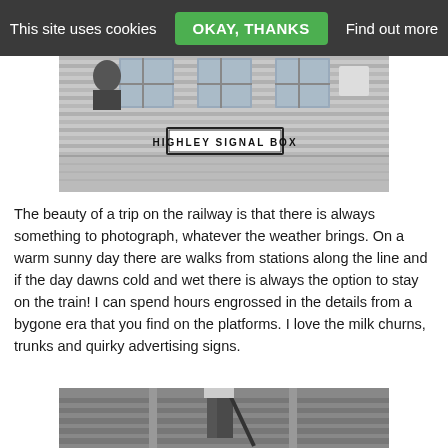This site uses cookies  OKAY, THANKS  Find out more
[Figure (photo): Black and white photograph of Highley Signal Box building exterior with sign reading 'HIGHLEY SIGNAL BOX']
The beauty of a trip on the railway is that there is always something to photograph, whatever the weather brings.  On a warm sunny day there are walks from stations along the line and if the day dawns cold and wet there is always the option to stay on the train!  I can spend hours engrossed in the details from a bygone era that you find on the platforms.  I love the milk churns, trunks and quirky advertising signs.
[Figure (photo): Black and white photograph showing lower body of a person standing on railway tracks holding a tool]